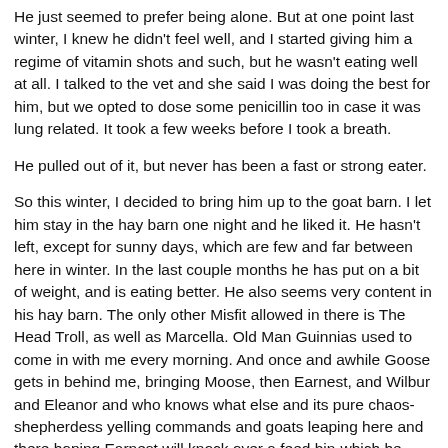He just seemed to prefer being alone. But at one point last winter, I knew he didn't feel well, and I started giving him a regime of vitamin shots and such, but he wasn't eating well at all. I talked to the vet and she said I was doing the best for him, but we opted to dose some penicillin too in case it was lung related. It took a few weeks before I took a breath.
He pulled out of it, but never has been a fast or strong eater.
So this winter, I decided to bring him up to the goat barn. I let him stay in the hay barn one night and he liked it. He hasn't left, except for sunny days, which are few and far between here in winter. In the last couple months he has put on a bit of weight, and is eating better. He also seems very content in his hay barn. The only other Misfit allowed in there is The Head Troll, as well as Marcella. Old Man Guinnias used to come in with me every morning. And once and awhile Goose gets in behind me, bringing Moose, then Earnest, and Wilbur and Eleanor and who knows what else and its pure chaos-shepherdess yelling commands and goats leaping here and there hoping Earnest will knock over a feed bin-which he would if allowed even 30 seconds on his own.